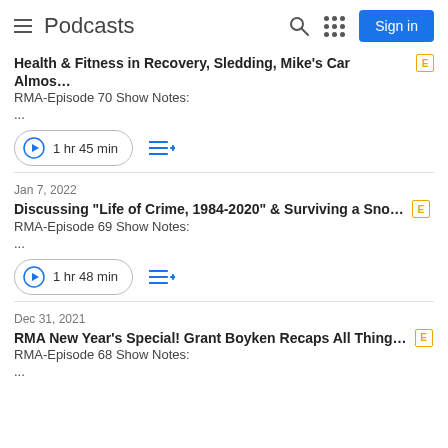Podcasts
Health & Fitness in Recovery, Sledding, Mike's Car Almos... RMA-Episode 70 Show Notes: ... 1 hr 45 min
Jan 7, 2022
Discussing "Life of Crime, 1984-2020" & Surviving a Sno...
RMA-Episode 69 Show Notes:
...
1 hr 48 min
Dec 31, 2021
RMA New Year's Special! Grant Boyken Recaps All Thing...
RMA-Episode 68 Show Notes:
...